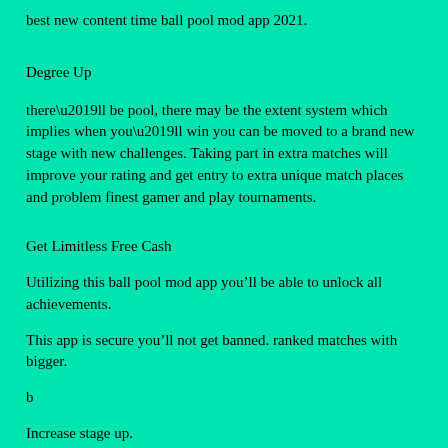best new content time ball pool mod app 2021.
Degree Up
there’ll be pool, there may be the extent system which implies when you’ll win you can be moved to a brand new stage with new challenges. Taking part in extra matches will improve your rating and get entry to extra unique match places and problem finest gamer and play tournaments.
Get Limitless Free Cash
Utilizing this ball pool mod app you’ll be able to unlock all achievements.
This app is secure you’ll not get banned. ranked matches with bigger.
b
Increase stage up.